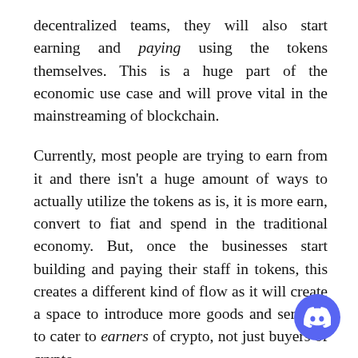decentralized teams, they will also start earning and paying using the tokens themselves. This is a huge part of the economic use case and will prove vital in the mainstreaming of blockchain.
Currently, most people are trying to earn from it and there isn't a huge amount of ways to actually utilize the tokens as is, it is more earn, convert to fiat and spend in the traditional economy. But, once the businesses start building and paying their staff in tokens, this creates a different kind of flow as it will create a space to introduce more goods and services to cater to earners of crypto, not just buyers of crypto.
A lot of people in crypto now have bought their position, not earned it, buying tokens at what they think is low, in the hope it will climb, converting...